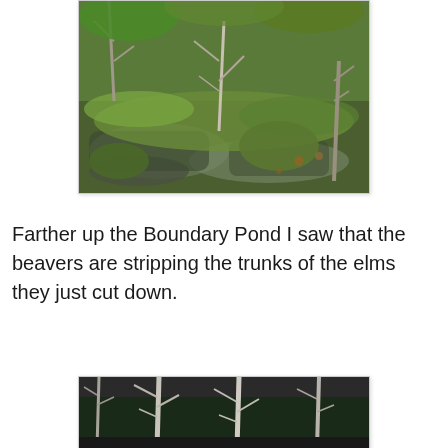[Figure (photo): A wetland or beaver pond scene with dead tree trunks, murky water partially covered with green algae or moss, and surrounding vegetation including green leafy trees and shrubs.]
Farther up the Boundary Pond I saw that the beavers are stripping the trunks of the elms they just cut down.
[Figure (photo): A forest scene showing tall bare tree trunks with sparse branching against a dark background of dense evergreen trees.]